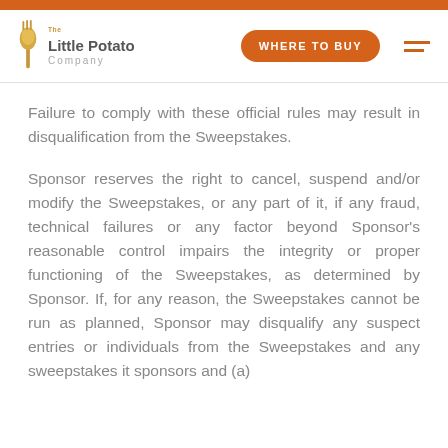[Figure (logo): The Little Potato Company logo with fork icon, WHERE TO BUY button, and hamburger menu]
Failure to comply with these official rules may result in disqualification from the Sweepstakes.
Sponsor reserves the right to cancel, suspend and/or modify the Sweepstakes, or any part of it, if any fraud, technical failures or any factor beyond Sponsor’s reasonable control impairs the integrity or proper functioning of the Sweepstakes, as determined by Sponsor. If, for any reason, the Sweepstakes cannot be run as planned, Sponsor may disqualify any suspect entries or individuals from the Sweepstakes and any sweepstakes it sponsors and (a)